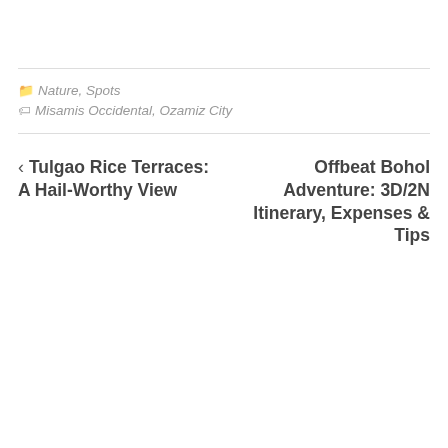Nature, Spots
Misamis Occidental, Ozamiz City
< Tulgao Rice Terraces: A Hail-Worthy View
Offbeat Bohol Adventure: 3D/2N Itinerary, Expenses & Tips